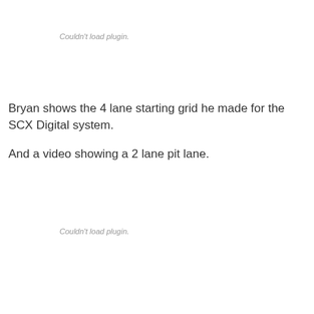Couldn't load plugin.
Bryan shows the 4 lane starting grid he made for the SCX Digital system.
And a video showing a 2 lane pit lane.
Couldn't load plugin.